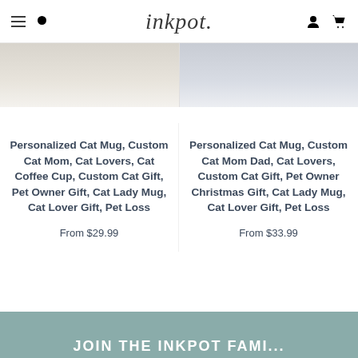inkpot.
[Figure (photo): Two product images showing personalized cat mugs, partially visible at the top of the page]
Personalized Cat Mug, Custom Cat Mom, Cat Lovers, Cat Coffee Cup, Custom Cat Gift, Pet Owner Gift, Cat Lady Mug, Cat Lover Gift, Pet Loss
From $29.99
Personalized Cat Mug, Custom Cat Mom Dad, Cat Lovers, Custom Cat Gift, Pet Owner Christmas Gift, Cat Lady Mug, Cat Lover Gift, Pet Loss
From $33.99
JOIN THE INKPOT FAMI...